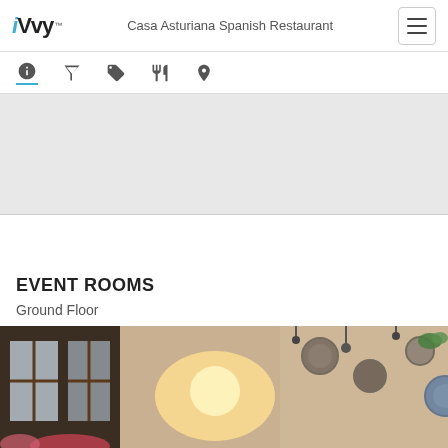iVvy — Casa Asturiana Spanish Restaurant
[Figure (screenshot): Navigation icon bar with info, cocktail/filter, tag, utensils, and location pin icons]
[Figure (photo): Gray banner placeholder area]
EVENT ROOMS
Ground Floor
[Figure (photo): Interior photo of restaurant showing windows, wall-mounted decorative plates, and warm lighting]